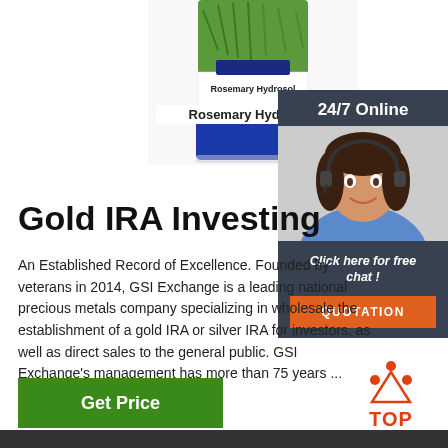[Figure (photo): Blue bottle of Rosemary Hydrosol product with green rosemary plant image on label]
Rosemary Hydrosol
[Figure (photo): 24/7 Online chat widget with female customer service agent wearing headset, with 'Click here for free chat!' text and QUOTATION button]
Gold IRA Investing
An Established Record of Excellence. Founded by veterans in 2014, GSI Exchange is a leading national precious metals company specializing in wholesale the establishment of a gold IRA or silver IRA for investors, as well as direct sales to the general public. GSI Exchange's management has more than 75 years ...
[Figure (other): Green 'Get Price' button]
[Figure (logo): TOP badge/logo with orange dots and text]